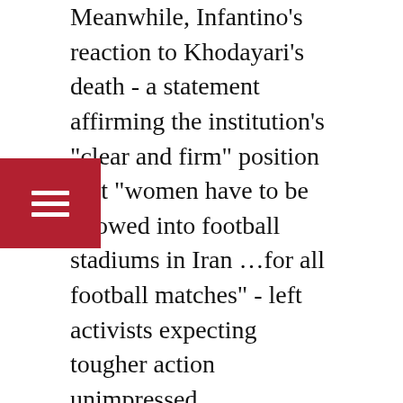Meanwhile, Infantino’s reaction to Khodayari’s death - a statement affirming the institution’s "clear and firm" position that "women have to be allowed into football stadiums in Iran …for all football matches" - left activists expecting tougher action unimpressed. "FIFA is responsible for Sahar’s death. They are responsible for the fact that I don’t feel secure in my own country," OpenStadiums said. "They could have taken serious actions years ago, but they never did". The world body has never penalised Iran, despite its own statutes and human rights policy stating that any discrimination against women "is strictly prohibited and punished by suspension or